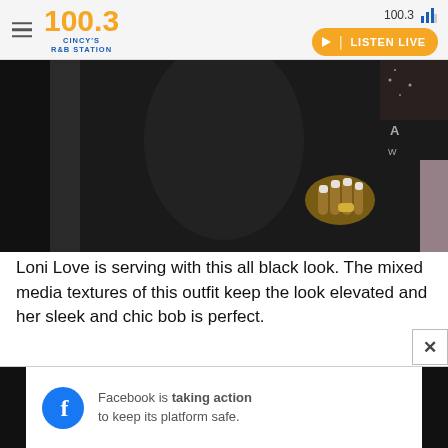100.3 LISTEN LIVE
[Figure (photo): Close-up photo of Loni Love at the 49th NAACP Image Awards, wearing an all-black outfit with mixed media textures, showing her hand with a ring and white nail polish]
Loni Love is serving with this all black look. The mixed media textures of this outfit keep the look elevated and her sleek and chic bob is perfect.
[Figure (infographic): Facebook advertisement banner: Facebook is taking action to keep its platform safe.]